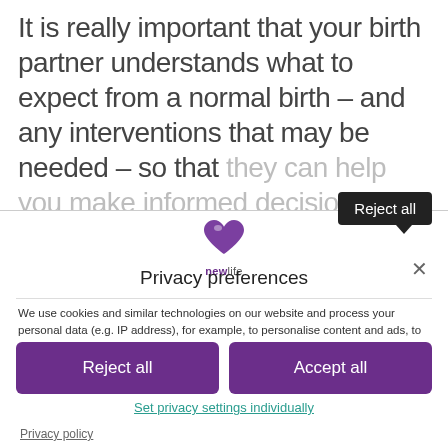It is really important that your birth partner understands what to expect from a normal birth – and any interventions that may be needed – so that they can help you make informed decisions
[Figure (logo): newlife charity logo with purple heart icon and 'newlife' text below]
Privacy preferences
We use cookies and similar technologies on our website and process your personal data (e.g. IP address), for example, to personalise content and ads, to integrate media from third-party providers or to analyse traffic on our website. Data processing may also happen as a result of cookies being set. We share this data with third parties that we name in the privacy and cookie settings.
The data processing may take place with your consent or on the basis of a
Reject all
Accept all
Set privacy settings individually
Privacy policy